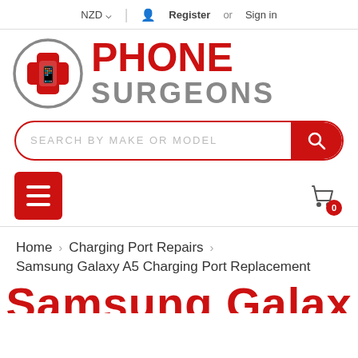NZD ▾  |  Register or Sign in
[Figure (logo): Phone Surgeons logo: red cross with phone icon in a grey circle, with PHONE in red and SURGEONS in grey text]
SEARCH BY MAKE OR MODEL
[Figure (infographic): Red hamburger menu button and shopping cart icon with badge showing 0]
Home  >  Charging Port Repairs  >  Samsung Galaxy A5 Charging Port Replacement
Samsung Galax A5